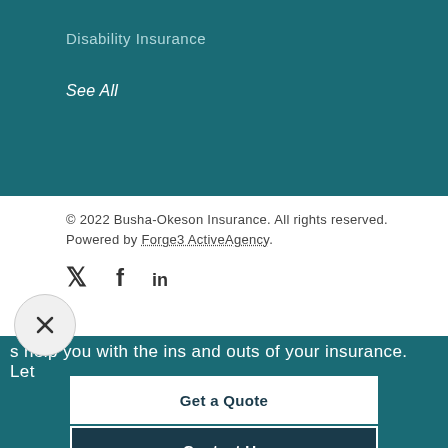Disability Insurance
See All
© 2022 Busha-Okeson Insurance. All rights reserved. Powered by Forge3 ActiveAgency.
[Figure (infographic): Social media icons: Twitter bird, Facebook f, LinkedIn in]
[Figure (other): Close button: circular button with X mark]
s help you with the ins and outs of your insurance.  Let
Get a Quote
Contact Us